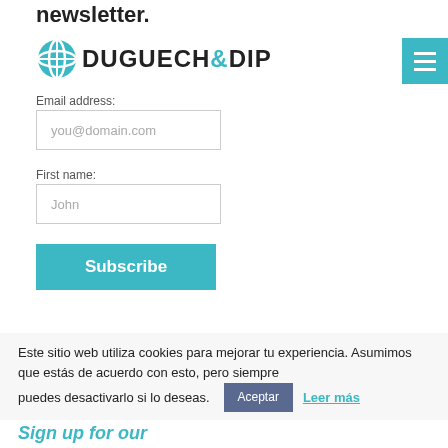newsletter.
[Figure (logo): Duguech & Dip logo with teal compass/globe icon and bold text DUGUECH&DIP]
[Figure (other): Teal hamburger menu button (three horizontal lines)]
Email address:
you@domain.com
First name:
John
Subscribe
ETIAS: n
Este sitio web utiliza cookies para mejorar tu experiencia. Asumimos que estás de acuerdo con esto, pero siempre puedes desactivarlo si lo deseas.
Aceptar
Leer más
Sign up for our